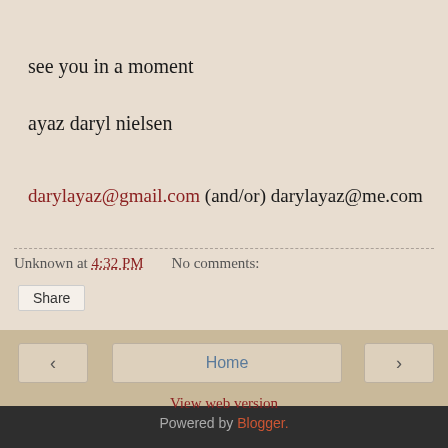see you in a moment
ayaz daryl nielsen
darylayaz@gmail.com (and/or) darylayaz@me.com
Unknown at 4:32 PM    No comments:
Share
< Home >
View web version
Powered by Blogger.